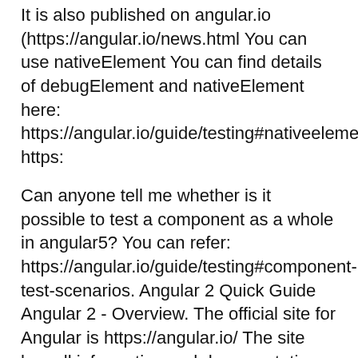It is also published on angular.io (https://angular.io/news.html You can use nativeElement You can find details of debugElement and nativeElement here: https://angular.io/guide/testing#nativeelement https:
Can anyone tell me whether is it possible to test a component as a whole in angular5? You can refer: https://angular.io/guide/testing#component-test-scenarios. Angular 2 Quick Guide Angular 2 - Overview. The official site for Angular is https://angular.io/ The site has all information and documentation about Angular 2.